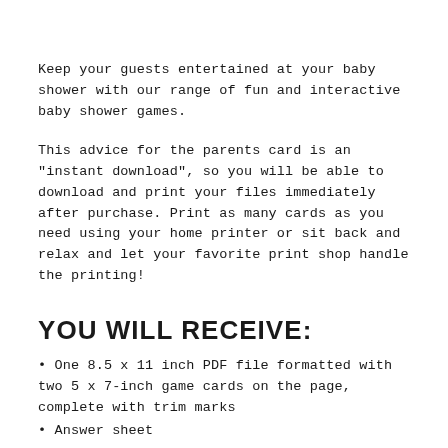Keep your guests entertained at your baby shower with our range of fun and interactive baby shower games.
This advice for the parents card is an "instant download", so you will be able to download and print your files immediately after purchase. Print as many cards as you need using your home printer or sit back and relax and let your favorite print shop handle the printing!
YOU WILL RECEIVE:
• One 8.5 x 11 inch PDF file formatted with two 5 x 7-inch game cards on the page, complete with trim marks
• Answer sheet